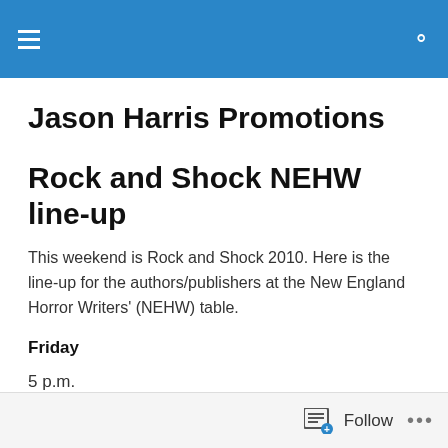[Navigation bar with menu and search icons]
Jason Harris Promotions
Rock and Shock NEHW line-up
This weekend is Rock and Shock 2010. Here is the line-up for the authors/publishers at the New England Horror Writers' (NEHW) table.
Friday
5 p.m.
Follow ...